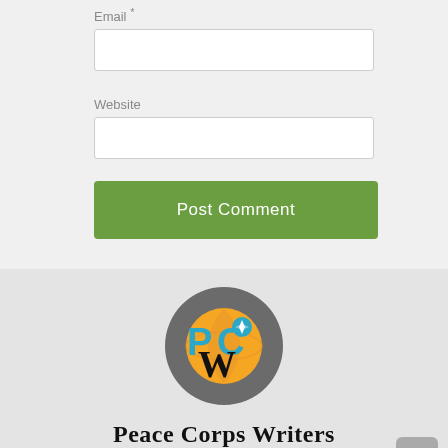Email *
Website
Post Comment
[Figure (logo): Peace Corps Writers circular logo with globe, letters PC and W in teal, orange, and black on a gray background]
Peace Corps Writers